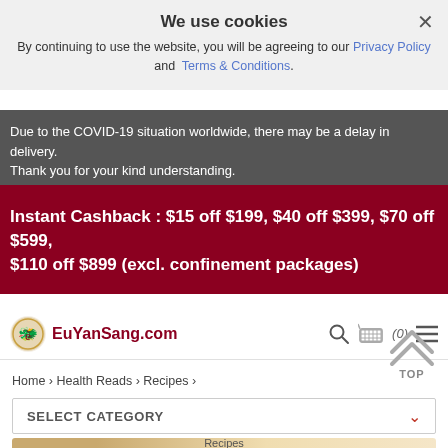We use cookies
By continuing to use the website, you will be agreeing to our Privacy Policy and Terms & Conditions.
Due to the COVID-19 situation worldwide, there may be a delay in delivery. Thank you for your kind understanding.
Instant Cashback : $15 off $199, $40 off $399, $70 off $599, $110 off $899 (excl. confinement packages)
[Figure (logo): EuYanSang.com logo with red circular emblem]
Home > Health Reads > Recipes >
SELECT CATEGORY
Recipes